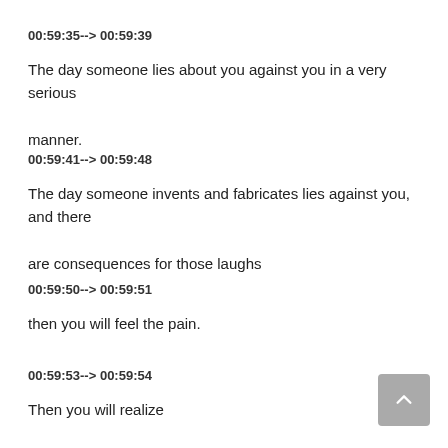00:59:35--> 00:59:39
The day someone lies about you against you in a very serious manner.
00:59:41--> 00:59:48
The day someone invents and fabricates lies against you, and there are consequences for those laughs
00:59:50--> 00:59:51
then you will feel the pain.
00:59:53--> 00:59:54
Then you will realize